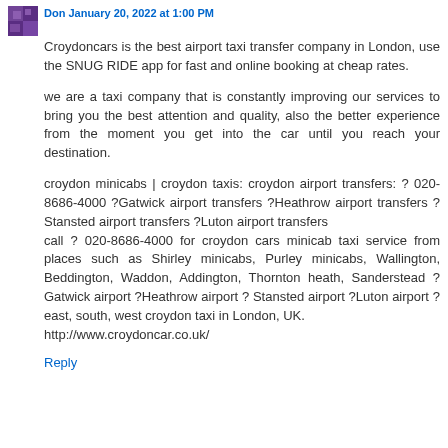Don January 20, 2022 at 1:00 PM
Croydoncars is the best airport taxi transfer company in London, use the SNUG RIDE app for fast and online booking at cheap rates.
we are a taxi company that is constantly improving our services to bring you the best attention and quality, also the better experience from the moment you get into the car until you reach your destination.
croydon minicabs | croydon taxis: croydon airport transfers: ? 020-8686-4000 ?Gatwick airport transfers ?Heathrow airport transfers ?Stansted airport transfers ?Luton airport transfers
call ? 020-8686-4000 for croydon cars minicab taxi service from places such as Shirley minicabs, Purley minicabs, Wallington, Beddington, Waddon, Addington, Thornton heath, Sanderstead ?Gatwick airport ?Heathrow airport ? Stansted airport ?Luton airport ?east, south, west croydon taxi in London, UK.
http://www.croydoncar.co.uk/
Reply